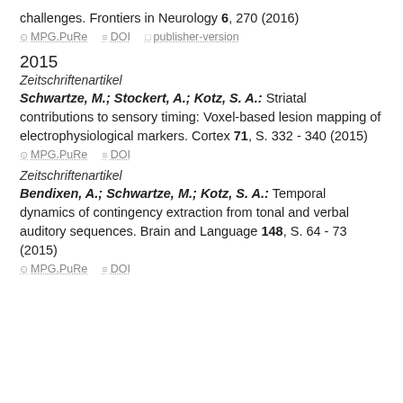challenges. Frontiers in Neurology 6, 270 (2016)
MPG.PuRe   DOI   publisher-version
2015
Zeitschriftenartikel
Schwartze, M.; Stockert, A.; Kotz, S. A.: Striatal contributions to sensory timing: Voxel-based lesion mapping of electrophysiological markers. Cortex 71, S. 332 - 340 (2015)
MPG.PuRe   DOI
Zeitschriftenartikel
Bendixen, A.; Schwartze, M.; Kotz, S. A.: Temporal dynamics of contingency extraction from tonal and verbal auditory sequences. Brain and Language 148, S. 64 - 73 (2015)
MPG.PuRe   DOI